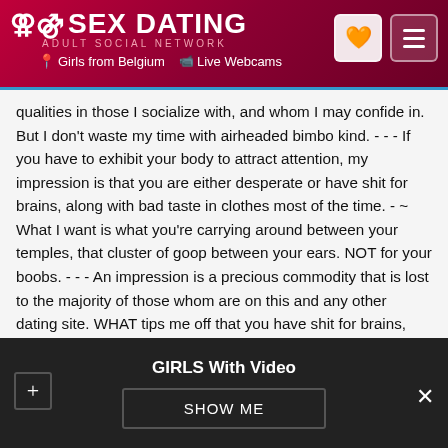SEX DATING ADULT SOCIAL NETWORK | Girls from Belgium | Live Webcams
qualities in those I socialize with, and whom I may confide in. But I don't waste my time with airheaded bimbo kind. - - - If you have to exhibit your body to attract attention, my impression is that you are either desperate or have shit for brains, along with bad taste in clothes most of the time. - ~ What I want is what you're carrying around between your temples, that cluster of goop between your ears. NOT for your boobs. - - - An impression is a precious commodity that is lost to the majority of those whom are on this and any other dating site. WHAT tips me off that you have shit for brains, are the holes you put in your body for "fashion trends" and the ink work to get those garrish tattoos that will get smeared and distorted as you get older, but thought it was a fun thing
GIRLS With Video  SHOW ME